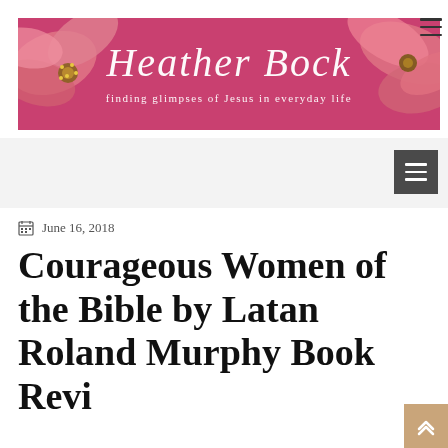[Figure (illustration): Heather Bock blog header banner with pink dogwood flowers background, white cursive text 'Heather Bock' as site title, and tagline 'finding glimpses of Jesus in everyday life']
[Figure (other): Hamburger menu icon (three horizontal lines) in dark gray at top right corner of page]
[Figure (other): Navigation bar area with gray background and dark gray hamburger/menu button on right side]
June 16, 2018
Courageous Women of the Bible by Latan Roland Murphy Book Review